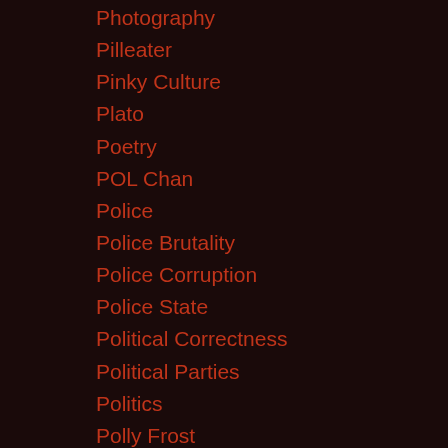Photography
Pilleater
Pinky Culture
Plato
Poetry
POL Chan
Police
Police Brutality
Police Corruption
Police State
Political Correctness
Political Parties
Politics
Polly Frost
pop psychology